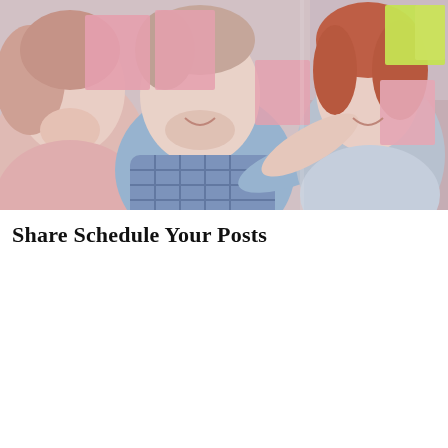[Figure (photo): Three smiling professionals (two women and one man) looking at colorful sticky notes (pink, green) posted on a glass board. The man is pointing at the notes. The scene appears to be a collaborative office brainstorming session.]
Share Schedule Your Posts